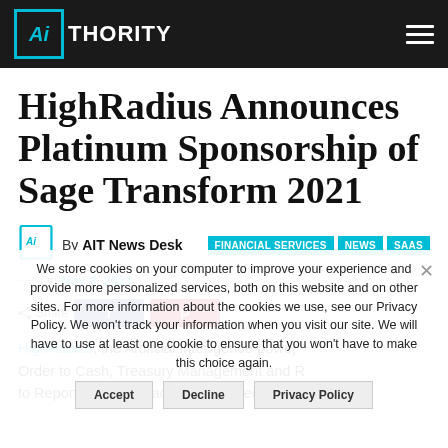AIThority
HighRadius Announces Platinum Sponsorship of Sage Transform 2021
By AIT News Desk
FINANCIAL SERVICES   NEWS   SAAS
On Nov 8, 2021
We store cookies on your computer to improve your experience and provide more personalized services, both on this website and on other sites. For more information about the cookies we use, see our Privacy Policy. We won't track your information when you visit our site. We will have to use at least one cookie to ensure that you won't have to make this choice again.
HighRadius, the Artificial Intelligence-powered Order to Cash, Treasury Management and R to Report software leader, announced that it is a